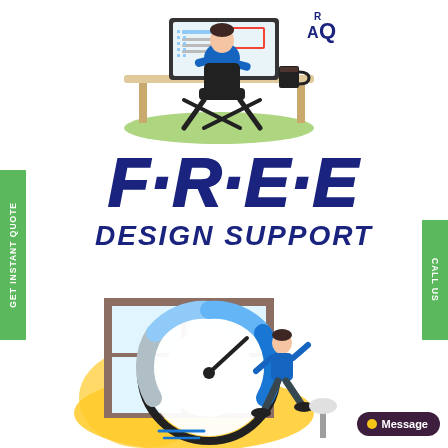[Figure (illustration): Illustration of a person sitting at a desk working on a computer, viewed from behind. Design/FAQ elements visible on screen. Coffee cup on desk. Green grass floor element.]
FREE DESIGN SUPPORT
[Figure (illustration): Illustration of a person running next to a large speedometer/clock, with a window frame in the background. Speed/fast delivery concept.]
GET INSTANT QUOTE
CALL US
Message